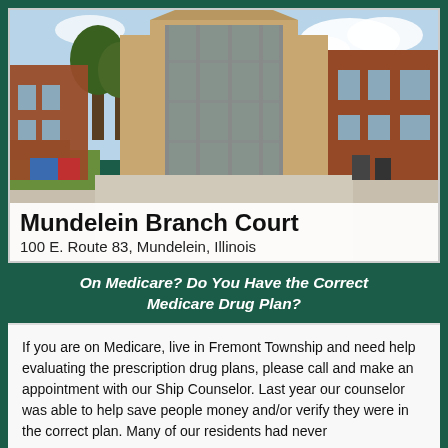[Figure (photo): Exterior photo of Mundelein Branch Court, a brick building with a cylindrical glass tower entrance. Text overlay at bottom reads: Mundelein Branch Court, 100 E. Route 83, Mundelein, Illinois.]
On Medicare? Do You Have the Correct Medicare Drug Plan?
If you are on Medicare, live in Fremont Township and need help evaluating the prescription drug plans, please call and make an appointment with our Ship Counselor. Last year our counselor was able to help save people money and/or verify they were in the correct plan. Many of our residents had never